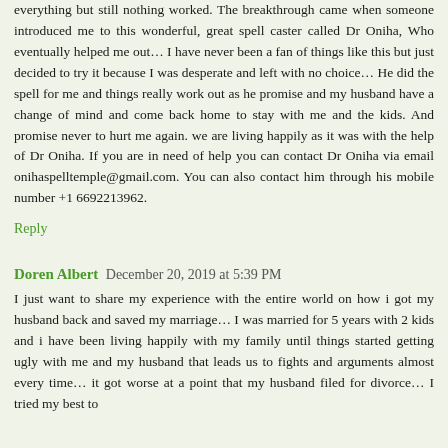everything but still nothing worked. The breakthrough came when someone introduced me to this wonderful, great spell caster called Dr Oniha, Who eventually helped me out… I have never been a fan of things like this but just decided to try it because I was desperate and left with no choice… He did the spell for me and things really work out as he promise and my husband have a change of mind and come back home to stay with me and the kids. And promise never to hurt me again. we are living happily as it was with the help of Dr Oniha. If you are in need of help you can contact Dr Oniha via email onihaspelltemple@gmail.com. You can also contact him through his mobile number +1 6692213962.
Reply
Doren Albert  December 20, 2019 at 5:39 PM
I just want to share my experience with the entire world on how i got my husband back and saved my marriage… I was married for 5 years with 2 kids and i have been living happily with my family until things started getting ugly with me and my husband that leads us to fights and arguments almost every time… it got worse at a point that my husband filed for divorce… I tried my best to